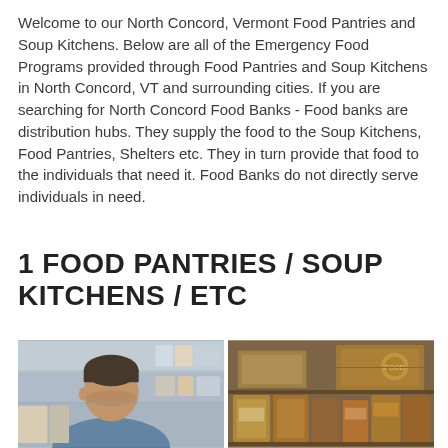Welcome to our North Concord, Vermont Food Pantries and Soup Kitchens. Below are all of the Emergency Food Programs provided through Food Pantries and Soup Kitchens in North Concord, VT and surrounding cities. If you are searching for North Concord Food Banks - Food banks are distribution hubs. They supply the food to the Soup Kitchens, Food Pantries, Shelters etc. They in turn provide that food to the individuals that need it. Food Banks do not directly serve individuals in need.
1 FOOD PANTRIES / SOUP KITCHENS / ETC
[Figure (photo): Two photos side by side: left shows a man looking down in a food pantry with shelves in background; right shows cardboard boxes of food on shelves.]